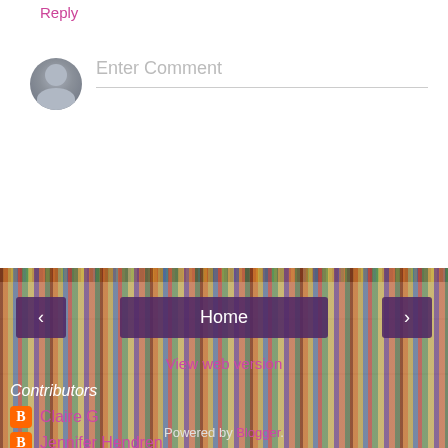Reply
Enter Comment
[Figure (screenshot): Bookshelf background with navigation buttons (< Home >) and View web version link]
Contributors
Claire G
Jennifer Hendren
Kristen Callihan
Rachel Walsh
Susan Montgomery
Powered by Blogger.